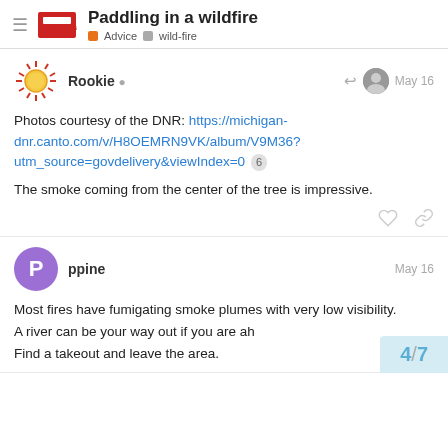Paddling in a wildfire | Advice | wild-fire
Rookie • May 16
Photos courtesy of the DNR: https://michigan-dnr.canto.com/v/H8OEMRN9VK/album/V9M36?utm_source=govdelivery&viewIndex=0
The smoke coming from the center of the tree is impressive.
ppine • May 16
Most fires have fumigating smoke plumes with very low visibility.
A river can be your way out if you are ah...
Find a takeout and leave the area.